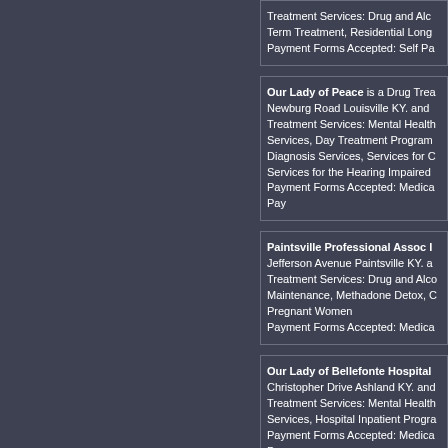Treatment Services: Drug and Alc... Term Treatment, Residential Long... Payment Forms Accepted: Self Pa...
Our Lady of Peace is a Drug Trea... Newburg Road Louisville KY. and ... Treatment Services: Mental Health Services, Day Treatment Program... Diagnosis Services, Services for C... Services for the Hearing Impaired... Payment Forms Accepted: Medica... Pay
Paintsville Professional Assoc I... Jefferson Avenue Paintsville KY. a... Treatment Services: Drug and Alc... Maintenance, Methadone Detox, C... Pregnant Women Payment Forms Accepted: Medica...
Our Lady of Bellefonte Hospital... Christopher Drive Ashland KY. and... Treatment Services: Mental Health Services, Hospital Inpatient Progra... Payment Forms Accepted: Medica... Pay